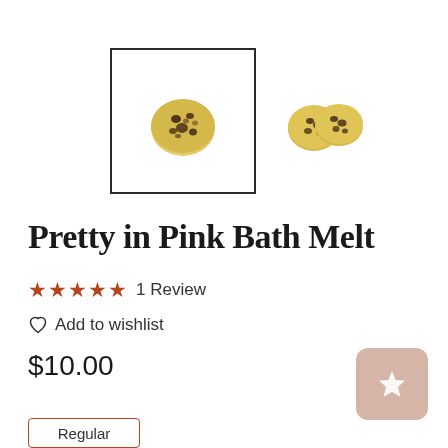[Figure (photo): Product images of Pretty in Pink Bath Melt — a small round bath melt with dark speckles, shown in a bordered thumbnail and a side view of two pieces]
Pretty in Pink Bath Melt
★★★★★  1 Review
♡  Add to wishlist
$10.00
[Figure (illustration): Pinkish-tan star badge/button in the bottom right]
Regular